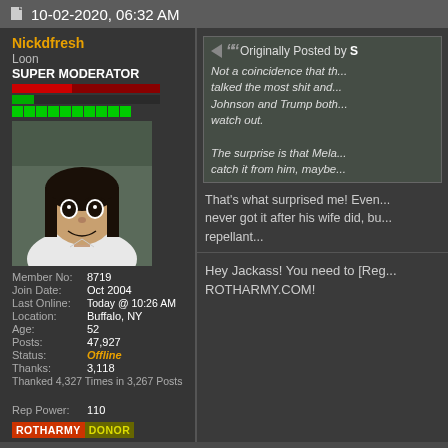10-02-2020, 06:32 AM
Nickdfresh
Loon
SUPER MODERATOR
[Figure (photo): Avatar photo of a man with dark hair and wide eyes wearing a white shirt]
| Member No: | 8719 |
| Join Date: | Oct 2004 |
| Last Online: | Today @ 10:26 AM |
| Location: | Buffalo, NY |
| Age: | 52 |
| Posts: | 47,927 |
| Status: | Offline |
| Thanks: | 3,118 |
| Thanked 4,327 Times in 3,267 Posts |  |
| Rep Power: | 110 |
[Figure (logo): ROTHARMY DONOR badge]
Originally Posted by S
Not a coincidence that t... talked the most shit and... Johnson and Trump both... watch out.

The surprise is that Mel... catch it from him, maybe...
That's what surprised me! Ever... never got it after his wife did, bu... repellant...
Hey Jackass! You need to [Reg... ROTHARMY.COM!